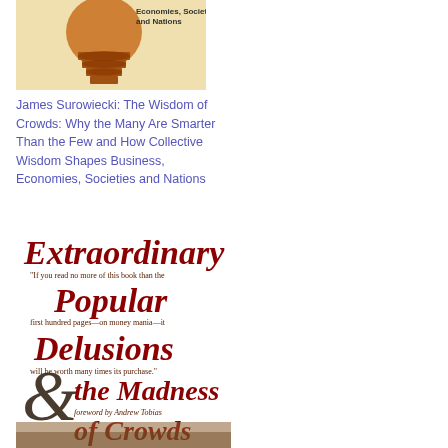[Figure (illustration): Book cover of 'The Wisdom of Crowds' by James Surowiecki showing a lightbulb wrapped with bands on a puzzle background]
James Surowiecki: The Wisdom of Crowds: Why the Many Are Smarter Than the Few and How Collective Wisdom Shapes Business, Economies, Societies and Nations
[Figure (illustration): Book cover of 'Extraordinary Popular Delusions and the Madness of Crowds' showing large decorative red and dark red typography with review quotes interspersed, and a brownish crowd illustration at the bottom]